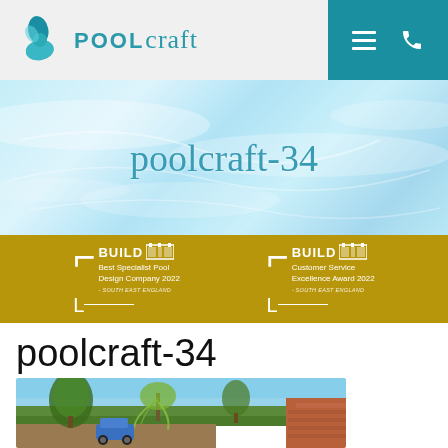[Figure (logo): Poolcraft logo with teal flower/clover icon and company name in mixed sans and script fonts]
[Figure (photo): Swimming pool water surface with light ripples, light blue color]
poolcraft-34
[Figure (infographic): Gold awards banner with two BUILD awards: Best Specialist Pool Design Company 2022 South East England, and Customer Service Excellence Award 2022 South East England]
poolcraft-34
[Figure (photo): Garden/outdoor landscape photo with trees and brick structure]